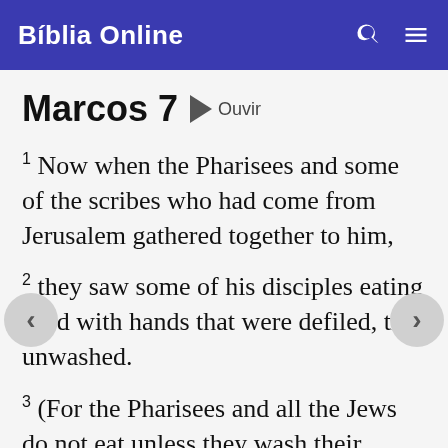Bíblia Online
Marcos 7 ▶ Ouvir
1 Now when the Pharisees and some of the scribes who had come from Jerusalem gathered together to him,
2 they saw some of his disciples eating food with hands that were defiled, that unwashed.
3 (For the Pharisees and all the Jews do not eat unless they wash their hands in a special way, holding the tradition of the elders